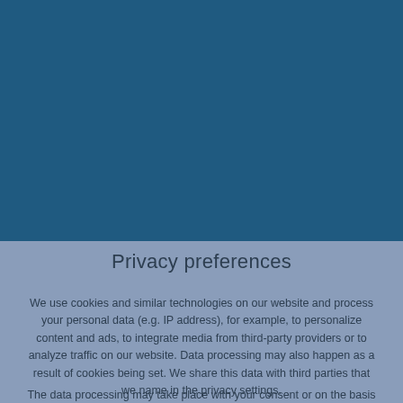[Figure (other): Dark blue rectangular background image filling the upper portion of the page]
Privacy preferences
We use cookies and similar technologies on our website and process your personal data (e.g. IP address), for example, to personalize content and ads, to integrate media from third-party providers or to analyze traffic on our website. Data processing may also happen as a result of cookies being set. We share this data with third parties that we name in the privacy settings.
The data processing may take place with your consent or on the basis of a